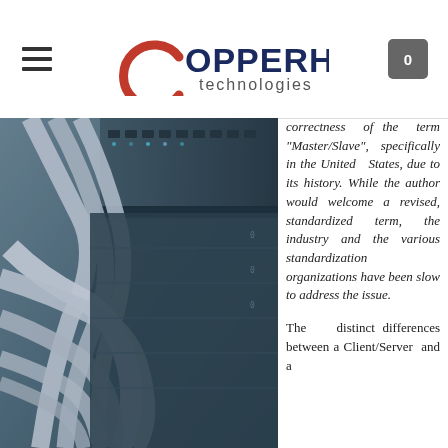Copperhill Technologies
[Figure (photo): Close-up photograph of multiple white Ethernet/network cables plugged into a network switch or patch panel, in blue-toned monochrome style]
correctness of the term "Master/Slave", specifically in the United States, due to its history. While the author would welcome a revised, standardized term, the industry and the various standardization organizations have been slow to address the issue.
The distinct differences between a Client/Server and a